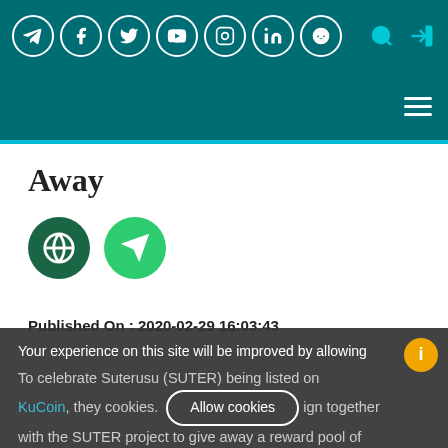Social media navigation bar with icons: Telegram, Facebook, Twitter, YouTube, Instagram, LinkedIn, Reddit, Search, Login
Navigation bar with hamburger menu
Away
[Figure (illustration): Two circular icon buttons: a dark green globe icon and a lighter green megaphone/announcement icon]
Published On : 2020-02-29 16:03:43
Your experience on this site will be improved by allowing cookies.
To celebrate Suterusu (SUTER) being listed on KuCoin, they cookies. Allow cookies ign together with the SUTER project to give away a reward pool of